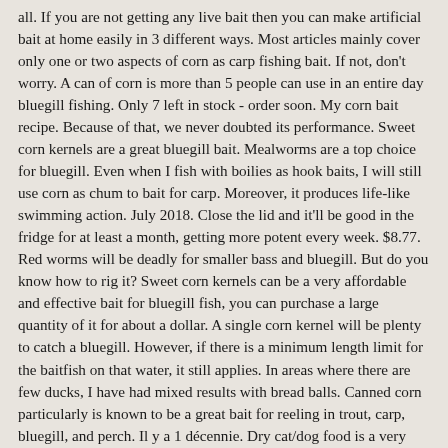all. If you are not getting any live bait then you can make artificial bait at home easily in 3 different ways. Most articles mainly cover only one or two aspects of corn as carp fishing bait. If not, don't worry. A can of corn is more than 5 people can use in an entire day bluegill fishing. Only 7 left in stock - order soon. My corn bait recipe. Because of that, we never doubted its performance. Sweet corn kernels are a great bluegill bait. Mealworms are a top choice for bluegill. Even when I fish with boilies as hook baits, I will still use corn as chum to bait for carp. Moreover, it produces life-like swimming action. July 2018. Close the lid and it'll be good in the fridge for at least a month, getting more potent every week. $8.77. Red worms will be deadly for smaller bass and bluegill. But do you know how to rig it? Sweet corn kernels can be a very affordable and effective bait for bluegill fish, you can purchase a large quantity of it for about a dollar. A single corn kernel will be plenty to catch a bluegill. However, if there is a minimum length limit for the baitfish on that water, it still applies. In areas where there are few ducks, I have had mixed results with bread balls. Canned corn particularly is known to be a great bait for reeling in trout, carp, bluegill, and perch. Il y a 1 décennie. Dry cat/dog food is a very good bait for catfish. The best way to fish live bait or corn is underneath a small stick or round bobber. Corn can be a pretty good fishing bait for panfish and small catfish. I've used everything from wiggler worms and crickets to shallow running crankbaits and tiny gold-plated jigs dropped through a hole in the